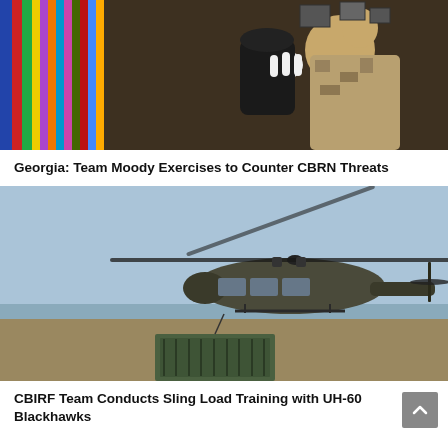[Figure (photo): Military personnel in desert camouflage uniform holding black equipment, colorful ribbon display in background]
Georgia: Team Moody Exercises to Counter CBRN Threats
[Figure (photo): UH-60 Black Hawk helicopter in flight over water with military cargo in green container below on ground]
CBIRF Team Conducts Sling Load Training with UH-60 Blackhawks